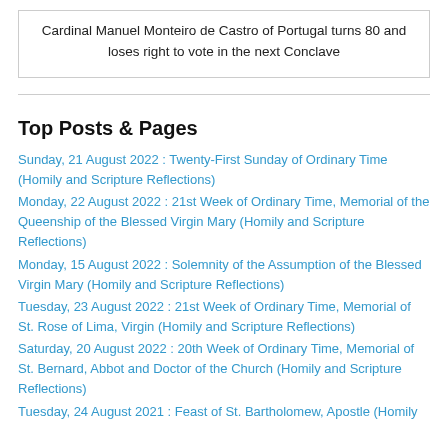Cardinal Manuel Monteiro de Castro of Portugal turns 80 and loses right to vote in the next Conclave
Top Posts & Pages
Sunday, 21 August 2022 : Twenty-First Sunday of Ordinary Time (Homily and Scripture Reflections)
Monday, 22 August 2022 : 21st Week of Ordinary Time, Memorial of the Queenship of the Blessed Virgin Mary (Homily and Scripture Reflections)
Monday, 15 August 2022 : Solemnity of the Assumption of the Blessed Virgin Mary (Homily and Scripture Reflections)
Tuesday, 23 August 2022 : 21st Week of Ordinary Time, Memorial of St. Rose of Lima, Virgin (Homily and Scripture Reflections)
Saturday, 20 August 2022 : 20th Week of Ordinary Time, Memorial of St. Bernard, Abbot and Doctor of the Church (Homily and Scripture Reflections)
Tuesday, 24 August 2021 : Feast of St. Bartholomew, Apostle (Homily